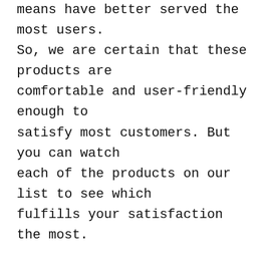means have better served the most users. So, we are certain that these products are comfortable and user-friendly enough to satisfy most customers. But you can watch each of the products on our list to see which fulfills your satisfaction the most.
FREQUENTLY ASKED QUESTIONS (FAQS)
WHAT IS THE PRICE RANGE FOR SCREEN PROTECTOR FOR GALAXY S10?